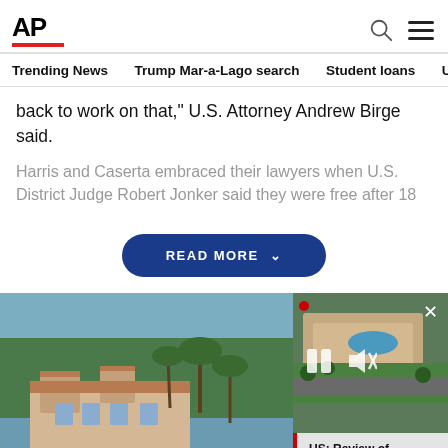AP
Trending News  Trump Mar-a-Lago search  Student loans  U.S.
back to work on that," U.S. Attorney Andrew Birge said.
Harris and Caserta embraced their lawyers when U.S. District Judge Robert Jonker said they were free after 18
[Figure (screenshot): READ MORE button overlay on article text]
[Figure (photo): Aerial and ground-level view of Mar-a-Lago estate with palm trees and waterfront. Overlaid video thumbnail shows aerial view with playback controls. Video caption reads: US: Review of possibly privileged Trump papers alre...]